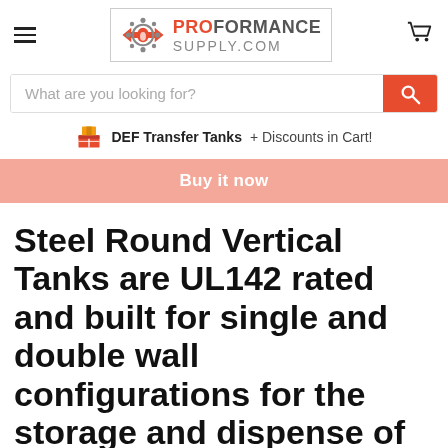ProFormance Supply.com
What are you looking for?
DEF Transfer Tanks + Discounts in Cart!
Buy it now
Steel Round Vertical Tanks are UL142 rated and built for single and double wall configurations for the storage and dispense of lubricants, oils
Back To Top